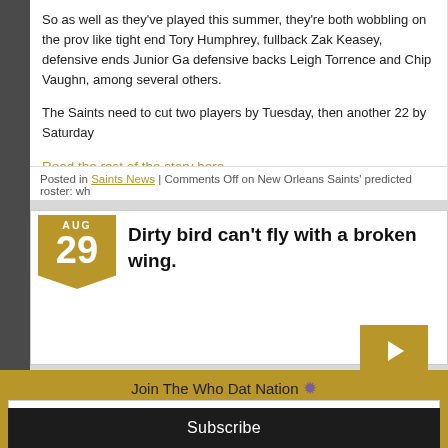So as well as they've played this summer, they're both wobbling on the prove like tight end Tory Humphrey, fullback Zak Keasey, defensive ends Junior Ga defensive backs Leigh Torrence and Chip Vaughn, among several others.
The Saints need to cut two players by Tuesday, then another 22 by Saturday
Read the rest of the story here.
Posted in Saints News | Comments Off on New Orleans Saints' predicted roster: wh
Dirty bird can't fly with a broken wing.
AUG 29
Join The Who Dat Nation ❧
Your email address..
Subscribe